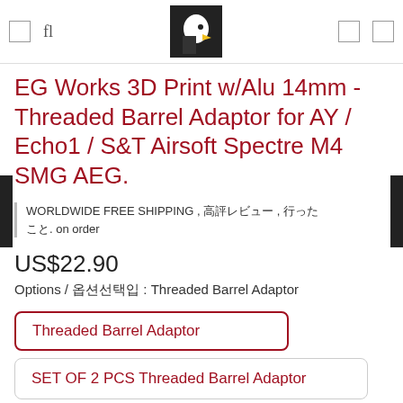EG Works store header with logo
EG Works 3D Print w/Alu 14mm - Threaded Barrel Adaptor for AY / Echo1 / S&T Airsoft Spectre M4 SMG AEG.
WORLDWIDE FREE SHIPPING , 무료배송무료배송 , 무료배송무료배송무료. on order
US$22.90
Options / 옵션선택입 : Threaded Barrel Adaptor
Threaded Barrel Adaptor
SET OF 2 PCS Threaded Barrel Adaptor